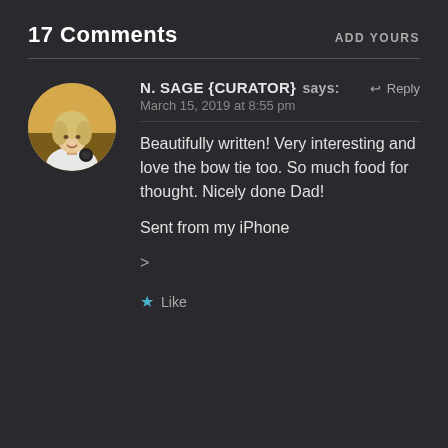17 Comments
ADD YOURS
N. SAGE {CURATOR} says: March 15, 2019 at 8:55 pm
Beautifully written! Very interesting and love the bow tie too. So much food for thought. Nicely done Dad!
Sent from my iPhone
>
Like